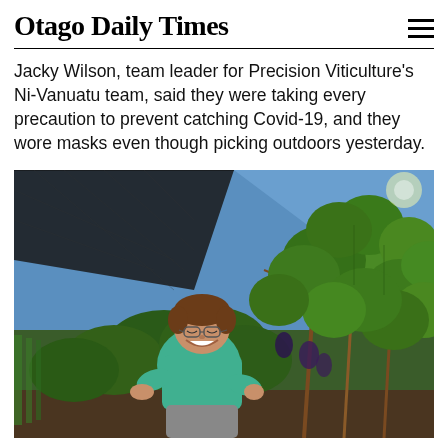Otago Daily Times
Jacky Wilson, team leader for Precision Viticulture's Ni-Vanuatu team, said they were taking every precaution to prevent catching Covid-19, and they wore masks even though picking outdoors yesterday.
[Figure (photo): A smiling woman with short brown hair and glasses, wearing a teal/green polo shirt, crouching and working among grapevines in a vineyard. A black bird-netting canopy is visible overhead in the upper left. The vineyard rows and lush green grape leaves fill the background.]